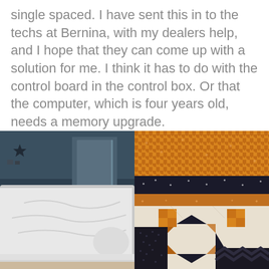single spaced. I have sent this in to the techs at Bernina, with my dealers help, and I hope that they can come up with a solution for me. I think it has to do with the control board in the control box. Or that the computer, which is four years old, needs a memory upgrade.
[Figure (photo): Photo of a bed covered with white fabric/quilt in a dimly lit bedroom with teal/dark walls and a door visible in the background]
[Figure (photo): Close-up photo of a quilt with orange houndstooth, black, and white patterned fabric strips and star quilt block]